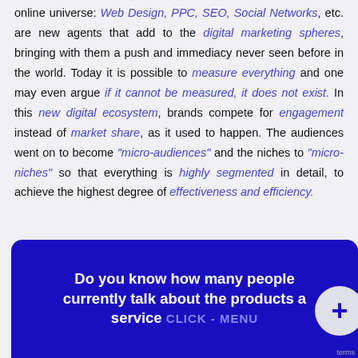online universe: Web Design, PPC, SEO, Social Networks, etc. are new agents that add to the digital marketing spheres, bringing with them a push and immediacy never seen before in the world. Today it is possible to measure everything and one may even argue if it cannot be measured, it does not exist. In this new digital ecosystem, brands compete for engagement instead of market share, as it used to happen. The audiences went on to become "micro-audiences" and the niches to "micro-niches" so that everything is highly segmented in detail, to achieve the highest degree of effectiveness and efficiency.
[Figure (infographic): Dark blue banner with bold white text reading 'Do you know how many people currently talk about the products a service' with 'CLICK - MENU' in blue and a plus button on the right]